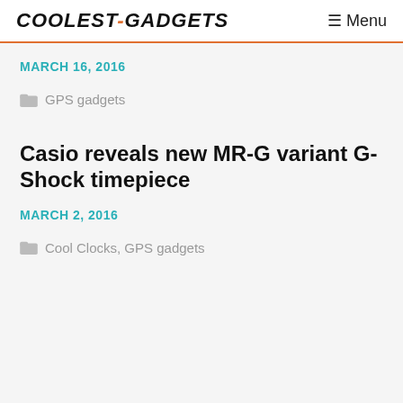COOLEST-GADGETS  ☰ Menu
MARCH 16, 2016
GPS gadgets
Casio reveals new MR-G variant G-Shock timepiece
MARCH 2, 2016
Cool Clocks, GPS gadgets